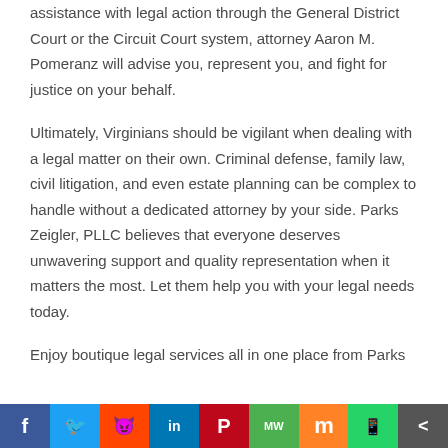assistance with legal action through the General District Court or the Circuit Court system, attorney Aaron M. Pomeranz will advise you, represent you, and fight for justice on your behalf.
Ultimately, Virginians should be vigilant when dealing with a legal matter on their own. Criminal defense, family law, civil litigation, and even estate planning can be complex to handle without a dedicated attorney by your side. Parks Zeigler, PLLC believes that everyone deserves unwavering support and quality representation when it matters the most. Let them help you with your legal needs today.
Enjoy boutique legal services all in one place from Parks
f | Twitter | reddit | in | P | MW | m | WhatsApp | <